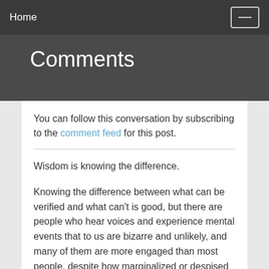Home
Comments
You can follow this conversation by subscribing to the comment feed for this post.
Wisdom is knowing the difference.

Knowing the difference between what can be verified and what can't is good, but there are people who hear voices and experience mental events that to us are bizarre and unlikely, and many of them are more engaged than most people, despite how marginalized or despised they may be. I'm not advocating nuttiness, mind you, but there is something to be said for people who go their own way. They're beyond arguing and they go about their wackiness with more courage and integrity than most people, so I don't always know whether to raise the